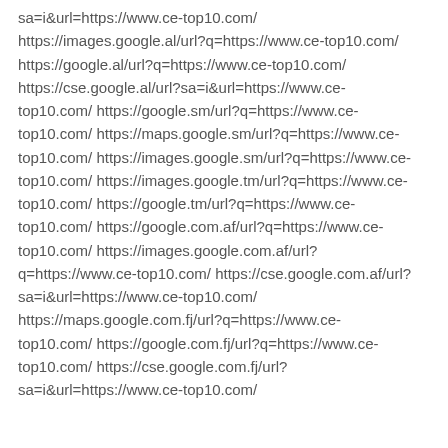sa=i&url=https://www.ce-top10.com/ https://images.google.al/url?q=https://www.ce-top10.com/ https://google.al/url?q=https://www.ce-top10.com/ https://cse.google.al/url?sa=i&url=https://www.ce-top10.com/ https://google.sm/url?q=https://www.ce-top10.com/ https://maps.google.sm/url?q=https://www.ce-top10.com/ https://images.google.sm/url?q=https://www.ce-top10.com/ https://images.google.tm/url?q=https://www.ce-top10.com/ https://google.tm/url?q=https://www.ce-top10.com/ https://google.com.af/url?q=https://www.ce-top10.com/ https://images.google.com.af/url?q=https://www.ce-top10.com/ https://cse.google.com.af/url?sa=i&url=https://www.ce-top10.com/ https://maps.google.com.fj/url?q=https://www.ce-top10.com/ https://google.com.fj/url?q=https://www.ce-top10.com/ https://cse.google.com.fj/url?sa=i&url=https://www.ce-top10.com/